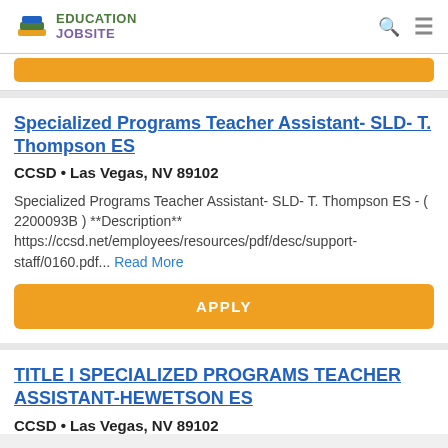Education Jobsite
Specialized Programs Teacher Assistant- SLD- T. Thompson ES
CCSD • Las Vegas, NV 89102
Specialized Programs Teacher Assistant- SLD- T. Thompson ES - ( 2200093B ) **Description** https://ccsd.net/employees/resources/pdf/desc/support-staff/0160.pdf... Read More
APPLY
TITLE I SPECIALIZED PROGRAMS TEACHER ASSISTANT-HEWETSON ES
CCSD • Las Vegas, NV 89102